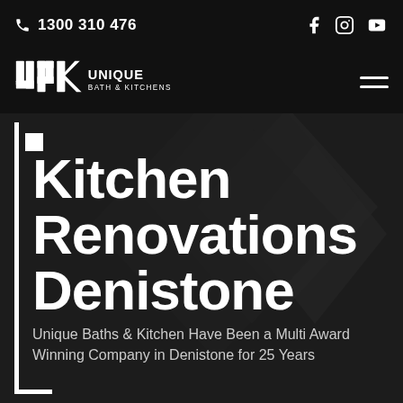1300 310 476
[Figure (logo): Unique Bath & Kitchens logo — stylized 'ubk' letterform in white with 'UNIQUE BATH & KITCHENS' text]
Kitchen Renovations Denistone
Unique Baths & Kitchen Have Been a Multi Award Winning Company in Denistone for 25 Years